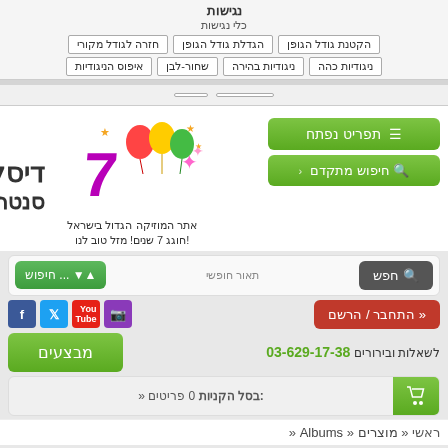נגישות
כלי נגישות
הקטנת גודל הגופן | הגדלת גודל הגופן | חזרה לגודל מקורי
ניגודיות כהה | ניגודיות בהירה | שחור-לבן | איפוס הניגודיות
[Figure (screenshot): Disk 7 Center logo with balloons and fireworks, Hebrew music site]
אתר המוזיקה הגדול בישראל
חוגג 7 שנים! מזל טוב לנו!
תפריט נפתח
חיפוש מתקדם
חפש | תאור חופשי | חיפוש ...
התחבר / הרשם «
לשאלות ובירורים 03-629-17-38
מבצעים
בסל הקניות: 0 פריטים «
ראשי « מוצרים « Albums «